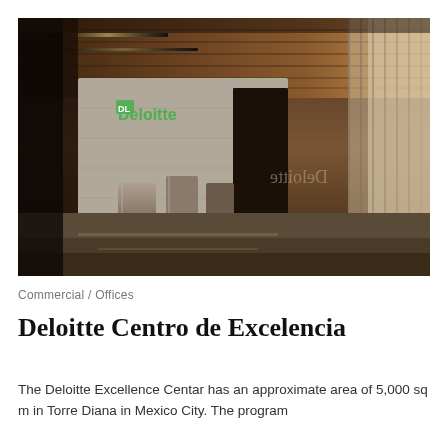[Figure (photo): Interior lobby of the Deloitte Centro de Excelencia office in Torre Diana, Mexico City. Shows a modern reception area with wooden paneled ceiling, Deloitte green logo on a light stone wall, metallic reception desk elements, polished concrete floor, and glass windows on the right side.]
Commercial / Offices
Deloitte Centro de Excelencia
The Deloitte Excellence Centar has an approximate area of 5,000 sq m in Torre Diana in Mexico City. The program